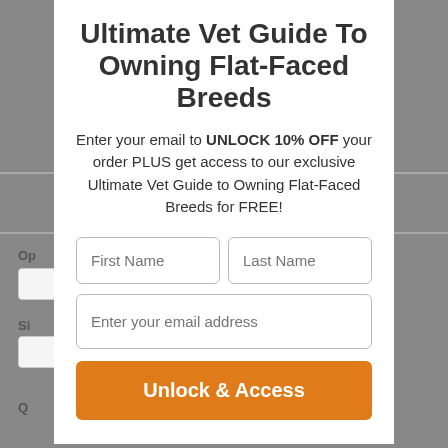[Figure (screenshot): A modal popup dialog over a webpage background. The modal has a white background and contains a title, promotional body text, two input fields (First Name, Last Name), an email input field, and an orange 'Unlock & Access' button.]
Ultimate Vet Guide To Owning Flat-Faced Breeds
Enter your email to UNLOCK 10% OFF your order PLUS get access to our exclusive Ultimate Vet Guide to Owning Flat-Faced Breeds for FREE!